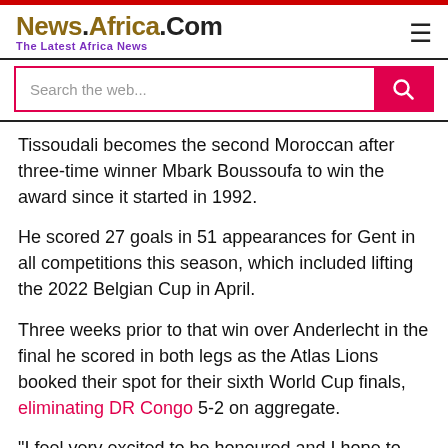News.Africa.Com — The Latest Africa News
Tissoudali becomes the second Moroccan after three-time winner Mbark Boussoufa to win the award since it started in 1992.
He scored 27 goals in 51 appearances for Gent in all competitions this season, which included lifting the 2022 Belgian Cup in April.
Three weeks prior to that win over Anderlecht in the final he scored in both legs as the Atlas Lions booked their spot for their sixth World Cup finals, eliminating DR Congo 5-2 on aggregate.
"I feel very excited to be honoured and I hope to continue to do well in the colours of my club and country," he added.